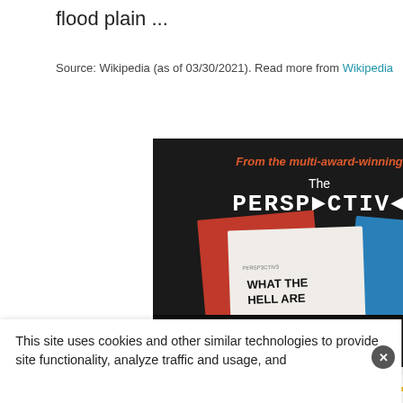flood plain ...
Source: Wikipedia (as of 03/30/2021). Read more from Wikipedia
[Figure (illustration): Advertisement for 'The Perspective' book — dark background with red subtitle text 'From the multi-award-winning', white title 'The PERSP3CTIV3', a book image showing red, blue and white cover with text 'WHAT THE HELL ARE...', bold white text 'The 100 debates that govern your life.', and a round white button 'Available on Amazon']
This site uses cookies and other similar technologies to provide site functionality, analyze traffic and usage, and